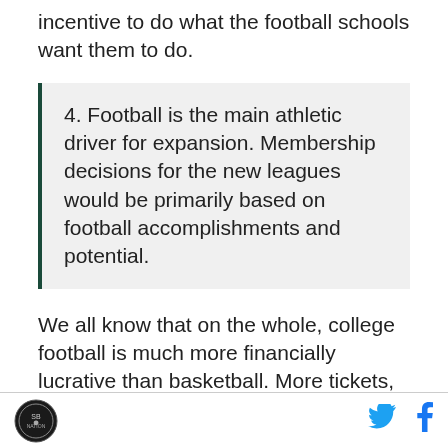incentive to do what the football schools want them to do.
4. Football is the main athletic driver for expansion. Membership decisions for the new leagues would be primarily based on football accomplishments and potential.
We all know that on the whole, college football is much more financially lucrative than basketball. More tickets, more expensive tickets, more TV ratings, bigger TV contracts, and on and on. It's also easier for a group of conferences to take the football money and run because the NCAA doesn't sanction the postseason in